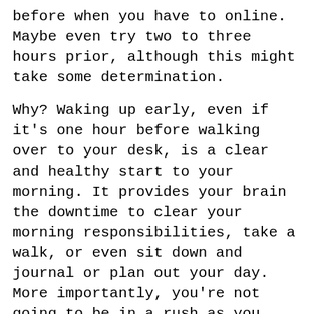before when you have to online. Maybe even try two to three hours prior, although this might take some determination.
Why? Waking up early, even if it's one hour before walking over to your desk, is a clear and healthy start to your morning. It provides your brain the downtime to clear your morning responsibilities, take a walk, or even sit down and journal or plan out your day. More importantly, you're not going to be in a rush as you check-in to work.
Schedule time for lunch, cafecito, or socialization with a friend
It can be jarring to leave the office environment where people are walking around, making eye